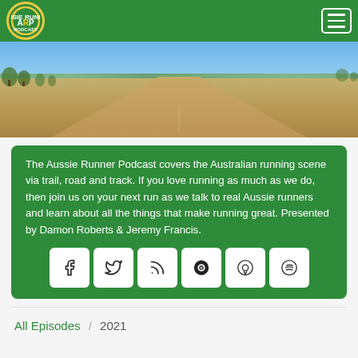Aussie Runner Podcast navigation bar with logo and hamburger menu
[Figure (photo): Outback Australian dirt road stretching to the horizon under a clear blue sky, with sparse trees on the left and dry grassy plains on both sides]
The Aussie Runner Podcast covers the Australian running scene via trail, road and track. If you love running as much as we do, then join us on your next run as we talk to real Aussie runners and learn about all the things that make running great. Presented by Damon Roberts & Jeremy Francis.
[Figure (infographic): Row of 6 social media icon buttons: Facebook, Twitter, RSS feed, Castbox, Apple Podcasts, Spotify]
All Episodes / 2021